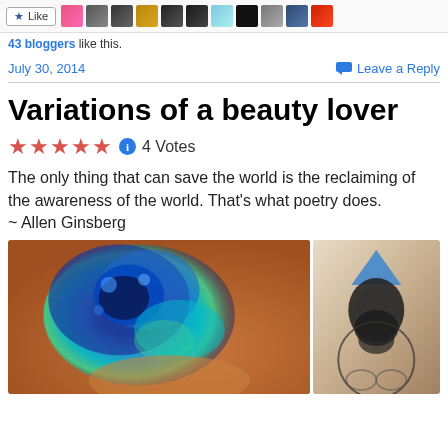[Figure (screenshot): Top bar with Like button and row of blogger avatar thumbnails]
43 bloggers like this.
July 30, 2014
Leave a Reply
Variations of a beauty lover
★★★★★  4 Votes
The only thing that can save the world is the reclaiming of the awareness of the world. That's what poetry does.
~ Allen Ginsberg
[Figure (photo): Two tattoo photos side by side: left shows a large colorful blue/teal cosmic tattoo on a back, right shows a dark detailed figure tattoo with a blue triangle on a shoulder/back.]